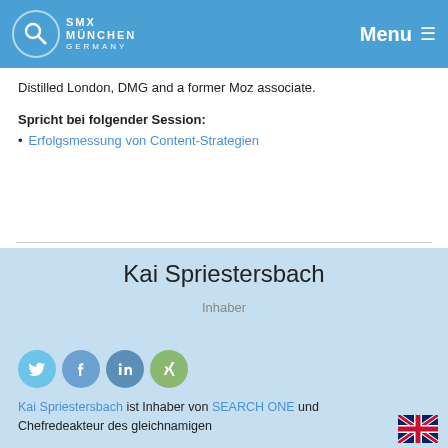SMX München Germany | Menu
Distilled London, DMG and a former Moz associate.
Spricht bei folgender Session:
Erfolgsmessung von Content-Strategien
Kai Spriestersbach
Inhaber
[Figure (infographic): Four social media icons: Twitter (blue bird), Facebook (blue f), LinkedIn (blue in), Xing (green x)]
Kai Spriestersbach ist Inhaber von SEARCH ONE und Chefredeakteur des gleichnamigen